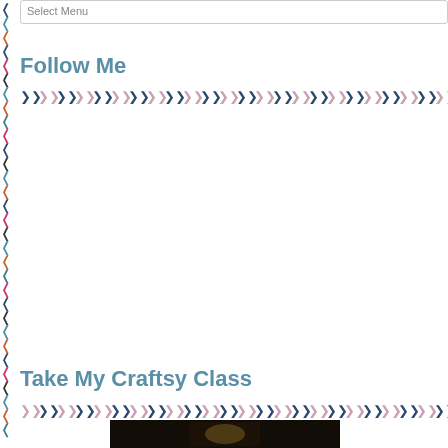Select Menu
Follow Me
[Figure (illustration): Horizontal row of alternating dark blue and pink downward-pointing chevrons/triangles as a decorative border]
[Figure (illustration): Vertical strip of multicolored left-pointing chevrons on the left margin, cycling through dark blue, teal, orange, dark blue, pink, dark, blue, orange, teal, pink, dark pattern]
Take My Craftsy Class
[Figure (illustration): Horizontal row of alternating dark blue and pink downward-pointing chevrons/triangles as a decorative border]
[Figure (photo): Dark photo thumbnail at the bottom of the page]